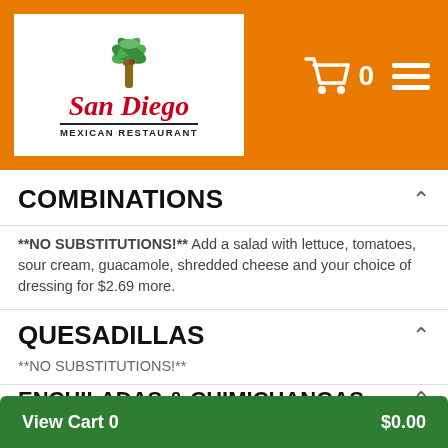[Figure (logo): San Diego Mexican Restaurant logo with palm tree on white background inside orange header bar]
Cart: 0 items, navigation menu
COMBINATIONS
**NO SUBSTITUTIONS!** Add a salad with lettuce, tomatoes, sour cream, guacamole, shredded cheese and your choice of dressing for $2.69 more.
QUESADILLAS
**NO SUBSTITUTIONS!**
ENCHILADAS & CHIMICHANGAS
**NO SUBSTITUTIONS!**
BURRITOS
View Cart 0   $0.00